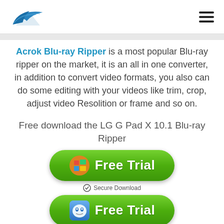Acrok logo and navigation menu
Acrok Blu-ray Ripper is a most popular Blu-ray ripper on the market, it is an all in one converter, in addition to convert video formats, you also can do some editing with your videos like trim, crop, adjust video Resolition or frame and so on.
Free download the LG G Pad X 10.1 Blu-ray Ripper
[Figure (other): Green Free Trial button with Windows logo icon]
Secure Download
[Figure (other): Green Free Trial button with Mac Finder logo icon]